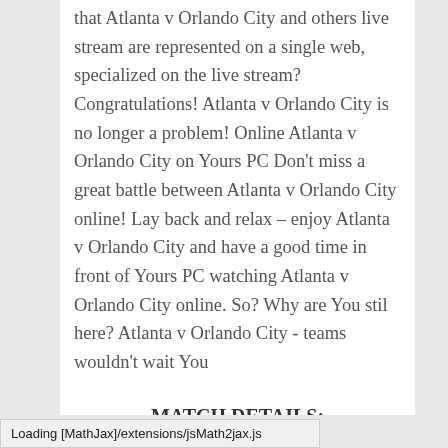that Atlanta v Orlando City and others live stream are represented on a single web, specialized on the live stream? Congratulations! Atlanta v Orlando City is no longer a problem! Online Atlanta v Orlando City on Yours PC Don't miss a great battle between Atlanta v Orlando City online! Lay back and relax – enjoy Atlanta v Orlando City and have a good time in front of Yours PC watching Atlanta v Orlando City online. So? Why are You stil here? Atlanta v Orlando City - teams wouldn't wait You
MATCH DETAILS:
Location:
Upcoming Information:MLS 16.09.2017
Competition: Atlanta - Orlando City live
When/Date: 16.09.2017
Loading [MathJax]/extensions/jsMath2jax.js